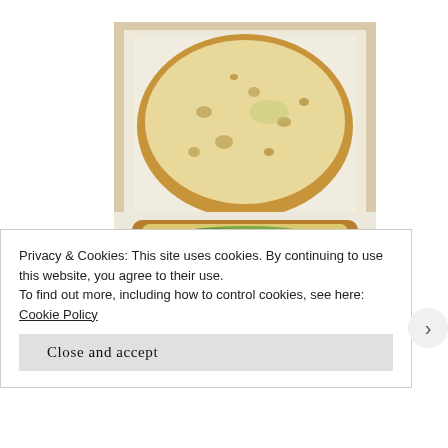[Figure (photo): Avocado toast open-faced sandwich: top slice of rustic sourdough bread showing interior crumb, bottom slice topped with mashed green avocado spread, served in a paper-lined box]
[Figure (photo): Partial view of an orange bottle/jar with a best-by date label, in a cafe setting]
Privacy & Cookies: This site uses cookies. By continuing to use this website, you agree to their use.
To find out more, including how to control cookies, see here: Cookie Policy
Close and accept